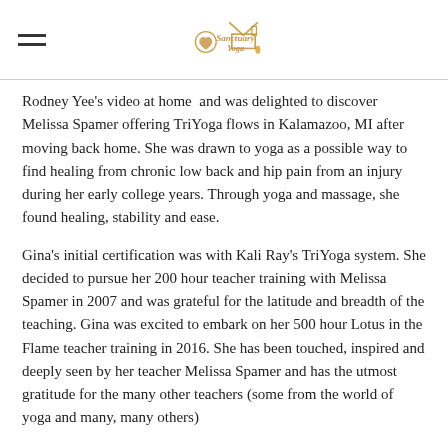Sanctuary Yoga
Rodney Yee's video at home  and was delighted to discover Melissa Spamer offering TriYoga flows in Kalamazoo, MI after moving back home. She was drawn to yoga as a possible way to find healing from chronic low back and hip pain from an injury during her early college years. Through yoga and massage, she found healing, stability and ease.
Gina's initial certification was with Kali Ray's TriYoga system. She decided to pursue her 200 hour teacher training with Melissa Spamer in 2007 and was grateful for the latitude and breadth of the teaching. Gina was excited to embark on her 500 hour Lotus in the Flame teacher training in 2016. She has been touched, inspired and deeply seen by her teacher Melissa Spamer and has the utmost gratitude for the many other teachers (some from the world of yoga and many, many others)